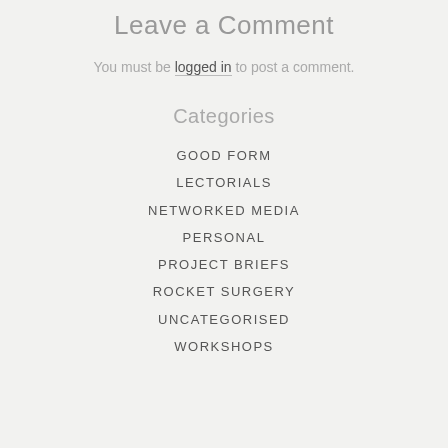Leave a Comment
You must be logged in to post a comment.
Categories
GOOD FORM
LECTORIALS
NETWORKED MEDIA
PERSONAL
PROJECT BRIEFS
ROCKET SURGERY
UNCATEGORISED
WORKSHOPS